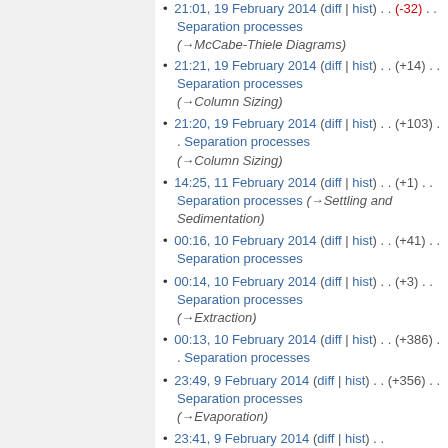21:01, 19 February 2014 (diff | hist) . . (-32) . . Separation processes (→McCabe-Thiele Diagrams)
21:21, 19 February 2014 (diff | hist) . . (+14) . . Separation processes (→Column Sizing)
21:20, 19 February 2014 (diff | hist) . . (+103) . . Separation processes (→Column Sizing)
14:25, 11 February 2014 (diff | hist) . . (+1) . . Separation processes (→Settling and Sedimentation)
00:16, 10 February 2014 (diff | hist) . . (+41) . . Separation processes
00:14, 10 February 2014 (diff | hist) . . (+3) . . Separation processes (→Extraction)
00:13, 10 February 2014 (diff | hist) . . (+386) . . Separation processes
23:49, 9 February 2014 (diff | hist) . . (+356) . . Separation processes (→Evaporation)
23:41, 9 February 2014 (diff | hist) . . (+629) . . Separation processes